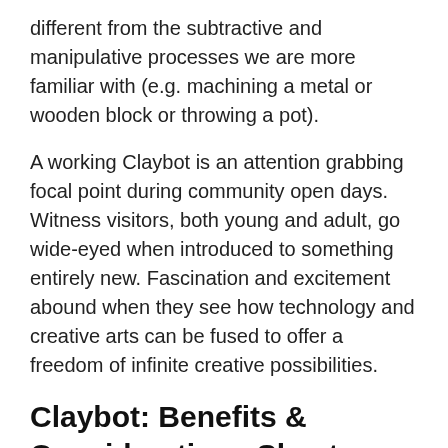different from the subtractive and manipulative processes we are more familiar with (e.g. machining a metal or wooden block or throwing a pot).
A working Claybot is an attention grabbing focal point during community open days. Witness visitors, both young and adult, go wide-eyed when introduced to something entirely new. Fascination and excitement abound when they see how technology and creative arts can be fused to offer a freedom of infinite creative possibilities.
Claybot: Benefits & Considerations Sheet
Our Benefits & Considerations PDF summary is a downloadable sheet to help you and your colleagues in the evaluation process of Claybot. We understand leaders and budgetary bodies must